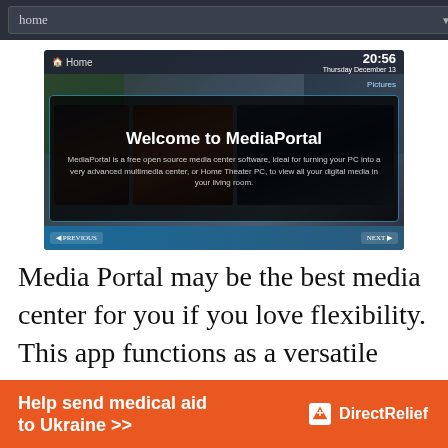[Figure (screenshot): Navigation bar with dark background showing a dropdown menu labeled 'home' with a down arrow]
[Figure (screenshot): MediaPortal home screen screenshot showing 'Welcome to MediaPortal' overlay with description text, movie thumbnails, time display 20:56 Thursday December 13, and blue navigation bar at bottom]
Media Portal may be the best media center for you if you love flexibility. This app functions as a versatile entertainment software. It is useful in playing media files and monitoring
[Figure (infographic): Orange advertisement banner reading 'Help send medical aid to Ukraine >>' with DirectRelief logo on the right]